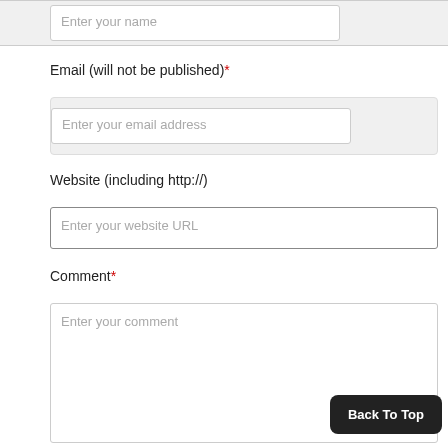Enter your name
Email (will not be published)*
Enter your email address
Website (including http://)
Enter your website URL
Comment*
Enter your comment
Back To Top